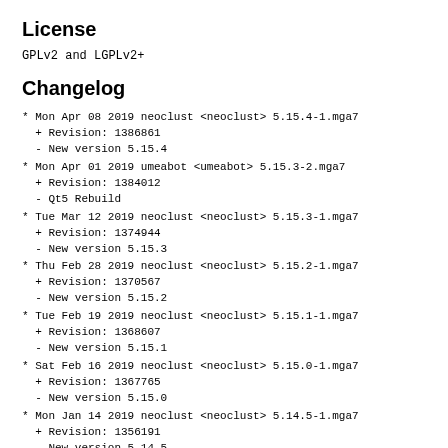License
GPLv2 and LGPLv2+
Changelog
* Mon Apr 08 2019 neoclust <neoclust> 5.15.4-1.mga7
  + Revision: 1386861
  - New version 5.15.4
* Mon Apr 01 2019 umeabot <umeabot> 5.15.3-2.mga7
  + Revision: 1384012
  - Qt5 Rebuild
* Tue Mar 12 2019 neoclust <neoclust> 5.15.3-1.mga7
  + Revision: 1374944
  - New version 5.15.3
* Thu Feb 28 2019 neoclust <neoclust> 5.15.2-1.mga7
  + Revision: 1370567
  - New version 5.15.2
* Tue Feb 19 2019 neoclust <neoclust> 5.15.1-1.mga7
  + Revision: 1368607
  - New version 5.15.1
* Sat Feb 16 2019 neoclust <neoclust> 5.15.0-1.mga7
  + Revision: 1367765
  - New version 5.15.0
* Mon Jan 14 2019 neoclust <neoclust> 5.14.5-1.mga7
  + Revision: 1356191
  - New version 5.14.5